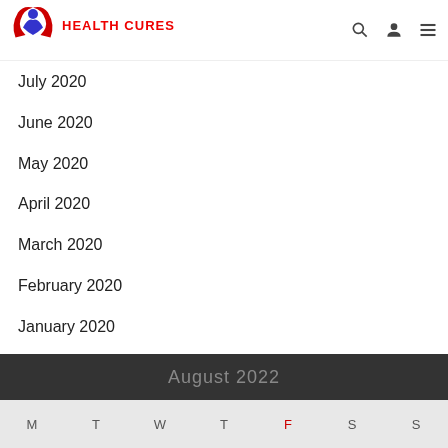[Figure (logo): Health Cures logo with figure and swoosh, red and blue colors, with text HEALTH CURES in red]
July 2020
June 2020
May 2020
April 2020
March 2020
February 2020
January 2020
August 2022
| M | T | W | T | F | S | S |
| --- | --- | --- | --- | --- | --- | --- |